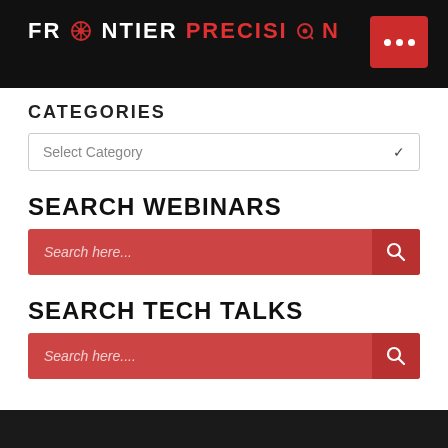FRONTIER PRECISION
CATEGORIES
Select Category
SEARCH WEBINARS
Search here...
SEARCH TECH TALKS
Search here....